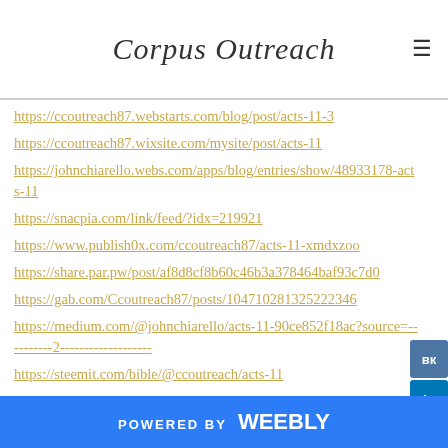Corpus Outreach
https://ccoutreach87.webstarts.com/blog/post/acts-11-3
https://ccoutreach87.wixsite.com/mysite/post/acts-11
https://johnchiarello.webs.com/apps/blog/entries/show/48933178-acts-11
https://snacpia.com/link/feed/?idx=219921
https://www.publish0x.com/ccoutreach87/acts-11-xmdxzoo
https://share.par.pw/post/af8d8cf8b60c46b3a378464baf93c7d0
https://gab.com/Ccoutreach87/posts/104710281325222346
https://medium.com/@johnchiarello/acts-11-90ce852f18ac?source=----------2-------------------
https://steemit.com/bible/@ccoutreach/acts-11
POWERED BY weebly